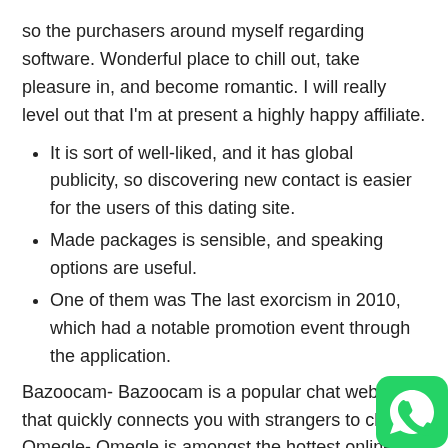so the purchasers around myself regarding software. Wonderful place to chill out, take pleasure in, and become romantic. I will really level out that I'm at present a highly happy affiliate.
It is sort of well-liked, and it has global publicity, so discovering new contact is easier for the users of this dating site.
Made packages is sensible, and speaking options are useful.
One of them was The last exorcism in 2010, which had a notable promotion event through the application.
Bazoocam- Bazoocam is a popular chat web site that quickly connects you with strangers to chat. Omegle- Omegle is amongst the hottest online chat website permitting consumer to speak with anybody without registration. Based on our document, Chatrouletteseems to be extra in style. We are monitoring product suggestions and mentions on Reddit, HackerNews, some other platforms. They can help you identify which pr...